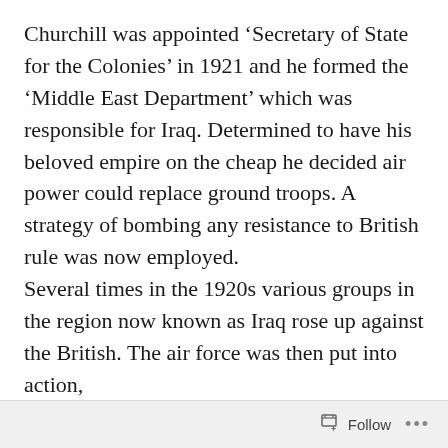Churchill was appointed ‘Secretary of State for the Colonies’ in 1921 and he formed the ‘Middle East Department’ which was responsible for Iraq. Determined to have his beloved empire on the cheap he decided air power could replace ground troops. A strategy of bombing any resistance to British rule was now employed.
Several times in the 1920s various groups in the region now known as Iraq rose up against the British. The air force was then put into action, indiscriminately bombing civilian areas
Follow ...